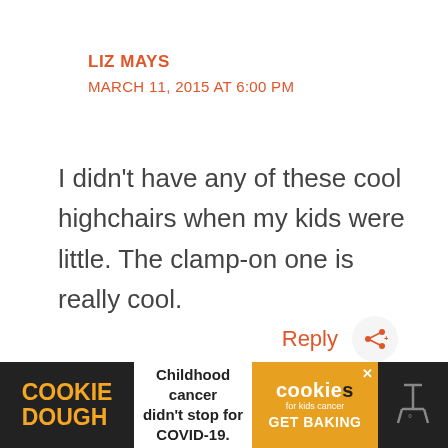LIZ MAYS
MARCH 11, 2015 AT 6:00 PM
I didn’t have any of these cool highchairs when my kids were little. The clamp-on one is really cool.
Reply
[Figure (infographic): Cookie Dough advertisement banner: 'Childhood cancer didn’t stop for COVID-19. GET BAKING' with Cookies for Kids Cancer branding]